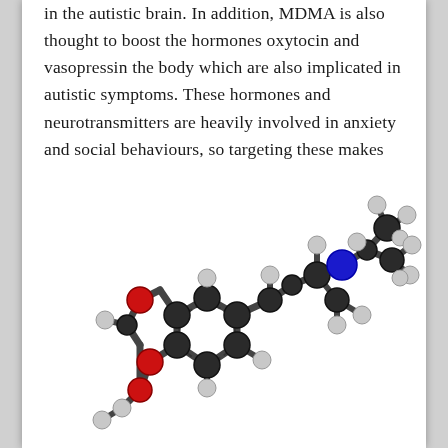in the autistic brain. In addition, MDMA is also thought to boost the hormones oxytocin and vasopressin the body which are also implicated in autistic symptoms. These hormones and neurotransmitters are heavily involved in anxiety and social behaviours, so targeting these makes pharmacological sense for autists.
[Figure (illustration): 3D ball-and-stick molecular model of MDMA (3,4-methylenedioxymethamphetamine). The model shows dark grey/black carbon atoms, white/light grey hydrogen atoms, red oxygen atoms forming the methylenedioxy ring, and a blue nitrogen atom. The molecule is rendered with a 3D ball-and-stick representation against a white background.]